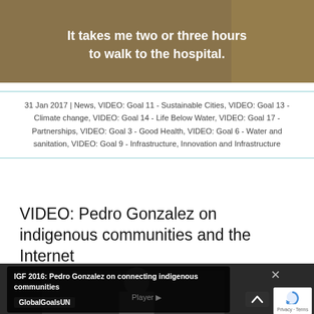[Figure (photo): Photo of a person with overlaid bold white text reading 'It takes me two or three hours to walk to the hospital.']
31 Jan 2017 | News, VIDEO: Goal 11 - Sustainable Cities, VIDEO: Goal 13 - Climate change, VIDEO: Goal 14 - Life Below Water, VIDEO: Goal 17 - Partnerships, VIDEO: Goal 3 - Good Health, VIDEO: Goal 6 - Water and sanitation, VIDEO: Goal 9 - Infrastructure, Innovation and Infrastructure
VIDEO: Pedro Gonzalez on indigenous communities and the Internet
[Figure (screenshot): Video thumbnail showing Pedro Gonzalez with overlay text 'IGF 2016: Pedro Gonzalez on connecting indigenous communities' and channel label 'GlobalGoalsUN'. A reCAPTCHA widget is visible in the bottom right.]